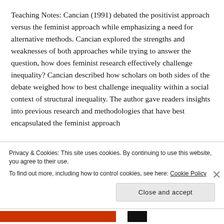Teaching Notes:  Cancian (1991) debated the positivist approach versus the feminist approach while emphasizing a need for alternative methods.  Cancian explored the strengths and weaknesses of both approaches while trying to answer the question, how does feminist research effectively challenge inequality?   Cancian described how scholars on both sides of the debate weighed how to best challenge inequality within a social context of structural inequality.  The author gave readers insights into previous research and methodologies that have best encapsulated the feminist approach
Privacy & Cookies: This site uses cookies. By continuing to use this website, you agree to their use.
To find out more, including how to control cookies, see here: Cookie Policy